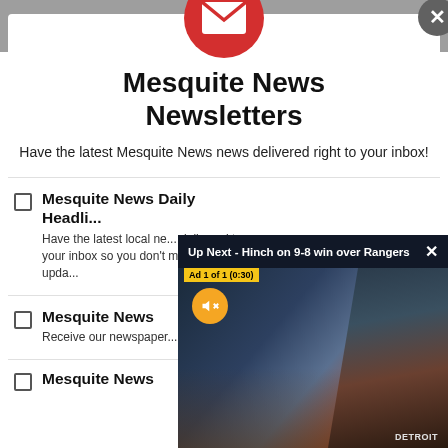SHARE THIS
[Figure (screenshot): Newsletter signup modal with red email icon, close button, title, description, and newsletter list items with checkboxes. An overlapping video player shows 'Up Next - Hinch on 9-8 win over Rangers' with an ad overlay.]
Mesquite News Newsletters
Have the latest Mesquite News news delivered right to your inbox!
Mesquite News Daily Headlines — Have the latest local news delivered to your inbox so you don't miss out on upda...
Mesquite News — Receive our newspaper...
Mesquite News...